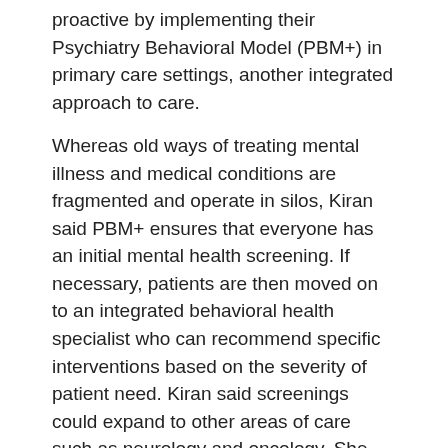proactive by implementing their Psychiatry Behavioral Model (PBM+) in primary care settings, another integrated approach to care.
Whereas old ways of treating mental illness and medical conditions are fragmented and operate in silos, Kiran said PBM+ ensures that everyone has an initial mental health screening. If necessary, patients are then moved on to an integrated behavioral health specialist who can recommend specific interventions based on the severity of patient need. Kiran said screenings could expand to other areas of care such as neurology and oncology. She pointed out that integrated screenings and treatment helps patients who might not even realize they're struggling with mental illness or who would otherwise be reluctant to admit it for fear of stigma.
Out-of-the-box thinking is needed in Michigan, which ranks 41st out of 50 states and Puerto Rico in terms